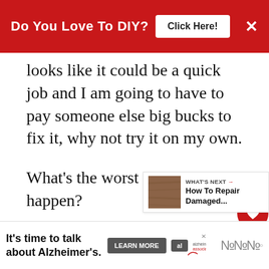[Figure (screenshot): Red banner advertisement: 'Do You Love To DIY?' with a white 'Click Here!' button and an X close button on dark red background]
looks like it could be a quick job and I am going to have to pay someone else big bucks to fix it, why not try it on my own.
What's the worst that could happen?
I may be paying a slightly larger repair bill?
Or I'd have to buy these new chairs in...
[Figure (screenshot): WHAT'S NEXT arrow widget showing 'How To Repair Damaged...' with a wood texture thumbnail image]
[Figure (screenshot): Bottom advertisement banner: 'It's time to talk about Alzheimer's.' with LEARN MORE button and Alzheimer's Association logo, with X close button]